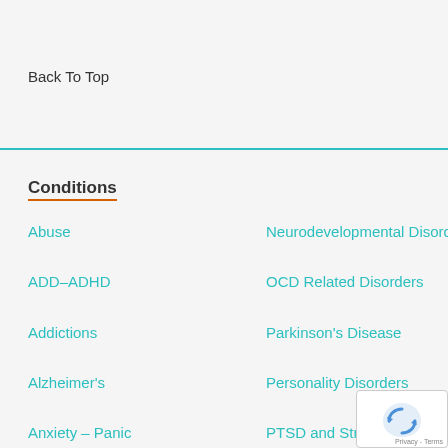Back To Top
Conditions
Abuse
ADD–ADHD
Addictions
Alzheimer's
Anxiety – Panic
Neurodevelopmental Disorders
OCD Related Disorders
Parkinson's Disease
Personality Disorders
PTSD and Stress Disorders